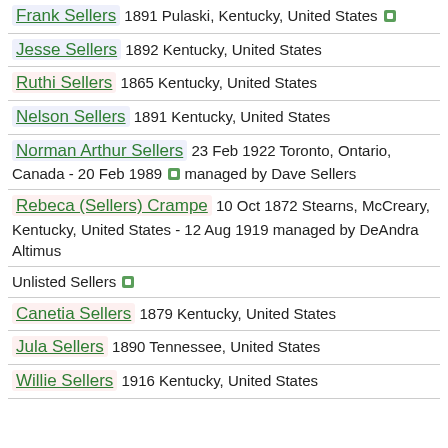Frank Sellers 1891 Pulaski, Kentucky, United States
Jesse Sellers 1892 Kentucky, United States
Ruthi Sellers 1865 Kentucky, United States
Nelson Sellers 1891 Kentucky, United States
Norman Arthur Sellers 23 Feb 1922 Toronto, Ontario, Canada - 20 Feb 1989 managed by Dave Sellers
Rebeca (Sellers) Crampe 10 Oct 1872 Stearns, McCreary, Kentucky, United States - 12 Aug 1919 managed by DeAndra Altimus
Unlisted Sellers
Canetia Sellers 1879 Kentucky, United States
Jula Sellers 1890 Tennessee, United States
Willie Sellers 1916 Kentucky, United States